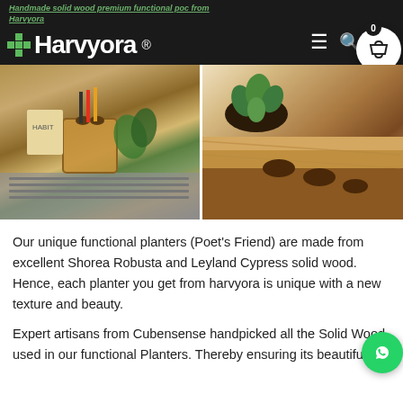Handmade solid wood premium functional poc from Harvyora
[Figure (photo): Left: wooden desk organizer/pen holder with pencils and phone on laptop. Right: wooden functional planter with succulent plant and multiple holes.]
Our unique functional planters (Poet's Friend) are made from excellent Shorea Robusta and Leyland Cypress solid wood. Hence, each planter you get from harvyora is unique with a new texture and beauty.
Expert artisans from Cubensense handpicked all the Solid Wood used in our functional Planters. Thereby ensuring its beautiful